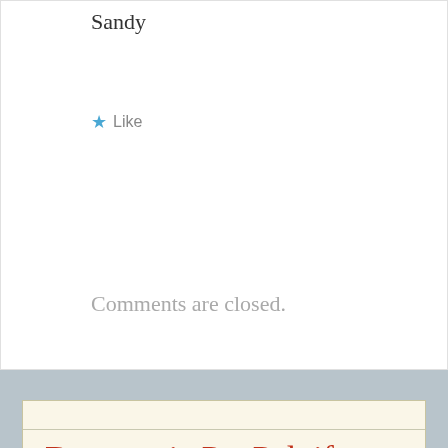Sandy
★ Like
Comments are closed.
Donate via PayPal, if you desire
[Figure (other): Yellow Donate button]